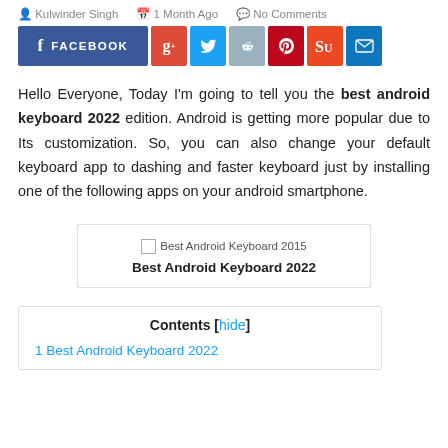Kulwinder Singh   1 Month Ago   No Comments
[Figure (infographic): Social share buttons row: Facebook, Google+, Twitter, Reddit, Pinterest, StumbleUpon, Email]
Hello Everyone, Today I'm going to tell you the best android keyboard 2022 edition. Android is getting more popular due to Its customization. So, you can also change your default keyboard app to dashing and faster keyboard just by installing one of the following apps on your android smartphone.
[Figure (illustration): Image placeholder labeled 'Best Android Keyboard 2015' with caption 'Best Android Keyboard 2022']
Contents [hide]
1 Best Android Keyboard 2022